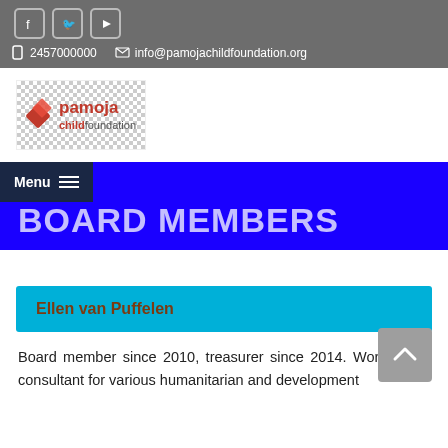Social icons (Facebook, Twitter, YouTube) | 2457000000 | info@pamojachildfoundation.org
[Figure (logo): Pamoja Child Foundation logo with red diamond shape and text 'pamoja childfoundation']
BOARD MEMBERS
Menu
Ellen van Puffelen
Board member since 2010, treasurer since 2014. Works as a consultant for various humanitarian and development